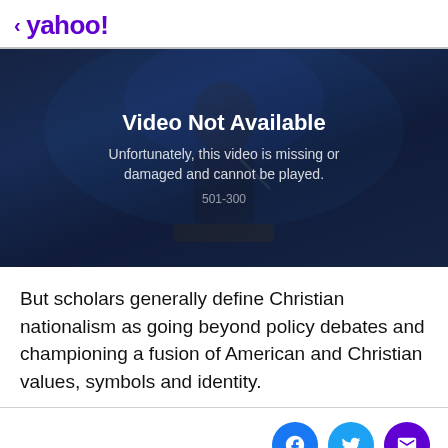< yahoo!
[Figure (screenshot): Video player showing 'Video Not Available' error message. Background shows a dimly lit person at a podium. Overlay text reads: 'Video Not Available / Unfortunately, this video is missing or damaged and cannot be played. / 501-300']
But scholars generally define Christian nationalism as going beyond policy debates and championing a fusion of American and Christian values, symbols and identity.